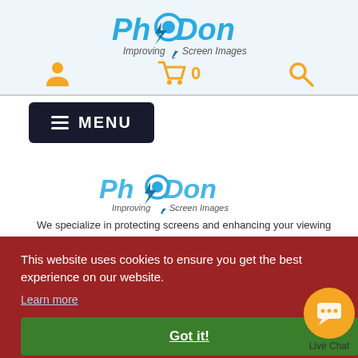[Figure (logo): PhotoDon logo with tagline 'Improving Screen Images' in blue and teal]
[Figure (infographic): Navigation icons: person/account icon, shopping cart with 0, and search magnifier in orange]
[Figure (logo): PhotoDon logo second instance with tagline 'Improving Screen Images']
We specialize in protecting screens and enhancing your viewing
This website uses cookies to ensure you get the best experience on our website.
Learn more
Got it!
[Figure (illustration): Orange circular Live Chat button with speech bubble icon]
Live Chat
1517 Northern Star Dr. Suite A